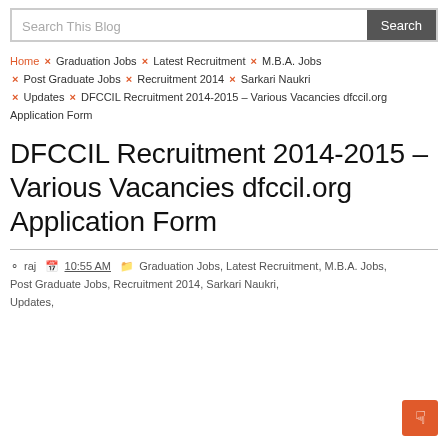Search This Blog | Search
Home × Graduation Jobs × Latest Recruitment × M.B.A. Jobs × Post Graduate Jobs × Recruitment 2014 × Sarkari Naukri × Updates × DFCCIL Recruitment 2014-2015 – Various Vacancies dfccil.org Application Form
DFCCIL Recruitment 2014-2015 – Various Vacancies dfccil.org Application Form
raj  10:55 AM  Graduation Jobs, Latest Recruitment, M.B.A. Jobs, Post Graduate Jobs, Recruitment 2014, Sarkari Naukri, Updates,